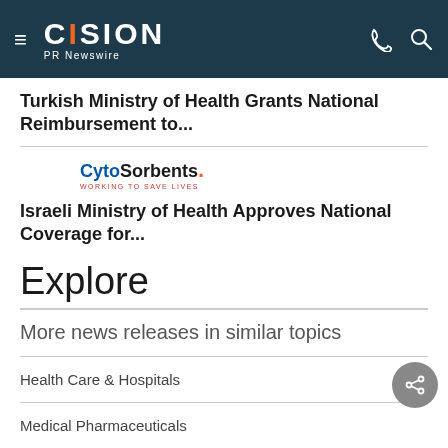CISION PR Newswire
Turkish Ministry of Health Grants National Reimbursement to...
[Figure (logo): CytoSorbents logo with tagline WORKING TO SAVE LIVES]
Israeli Ministry of Health Approves National Coverage for...
Explore
More news releases in similar topics
Health Care & Hospitals
Medical Pharmaceuticals
Biotechnology